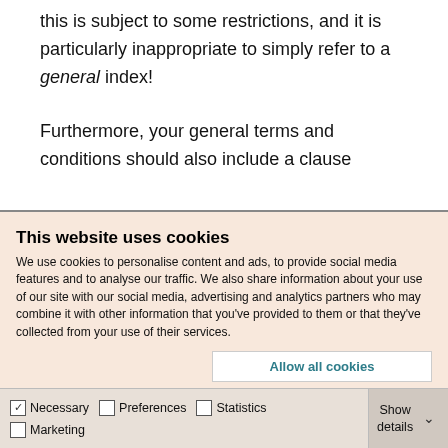this is subject to some restrictions, and it is particularly inappropriate to simply refer to a general index!
Furthermore, your general terms and conditions should also include a clause
This website uses cookies
We use cookies to personalise content and ads, to provide social media features and to analyse our traffic. We also share information about your use of our site with our social media, advertising and analytics partners who may combine it with other information that you've provided to them or that they've collected from your use of their services.
Allow all cookies
Allow selection
Use necessary cookies only
Necessary  Preferences  Statistics  Marketing  Show details